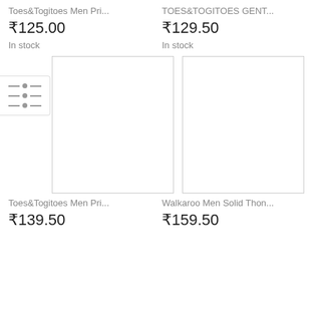Toes&Togitoes Men Pri...
₹125.00
In stock
TOES&TOGITOES GENT...
₹129.50
In stock
[Figure (other): Filter/sort icon button with three horizontal sliders]
[Figure (photo): Product image placeholder (left) - white rectangle with border]
[Figure (photo): Product image placeholder (right) - white rectangle with border]
Toes&Togitoes Men Pri...
₹139.50
Walkaroo Men Solid Thon...
₹159.50